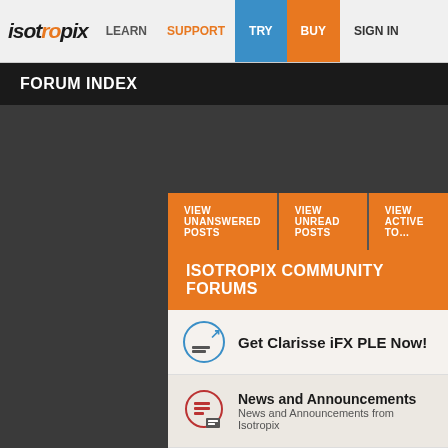isotropix LEARN SUPPORT TRY BUY SIGN IN
FORUM INDEX
VIEW UNANSWERED POSTS
VIEW UNREAD POSTS
VIEW ACTIVE TOPICS
ISOTROPIX COMMUNITY FORUMS
Get Clarisse iFX PLE Now!
News and Announcements
News and Announcements from Isotropix
General Discussion
General Discussion about Isotropix and CG related topics
Angie
General discussion about the new Angie renderer
Finished Work